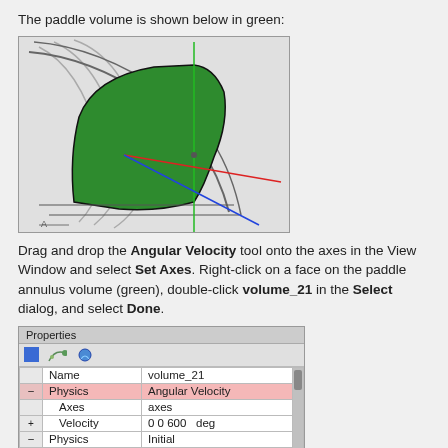The paddle volume is shown below in green:
[Figure (engineering-diagram): 3D CAD view of a paddle annulus volume highlighted in green, shown with coordinate axes (blue, red, green lines) visible in the background. The shape is a curved wedge/sector viewed from an angle.]
Drag and drop the Angular Velocity tool onto the axes in the View Window and select Set Axes. Right-click on a face on the paddle annulus volume (green), double-click volume_21 in the Select dialog, and select Done.
[Figure (screenshot): Properties panel showing volume_21 with Physics: Angular Velocity, Axes: axes, Velocity: 0 0 600 deg, Physics: Initial, U: Fixed Value, Value: 0 0 0 m s-]